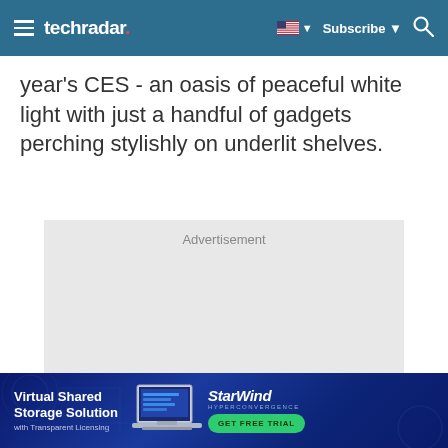techradar
year's CES - an oasis of peaceful white light with just a handful of gadgets perching stylishly on underlit shelves.
[Figure (other): Advertisement placeholder box — grey rectangle with 'Advertisement' label]
[Figure (other): Bottom banner advertisement for StarWind Hyperconvergence — Virtual Shared Storage Solution with Transparent Licensing — GET FREE TRIAL button]